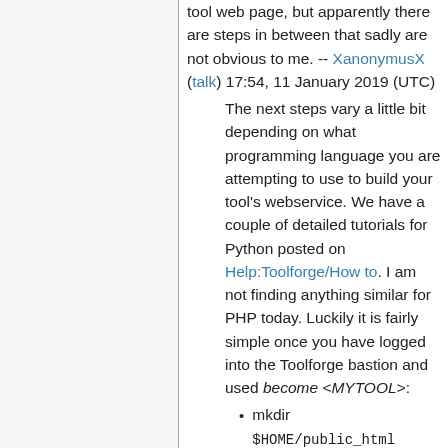tool web page, but apparently there are steps in between that sadly are not obvious to me. -- XanonymusX (talk) 17:54, 11 January 2019 (UTC)
The next steps vary a little bit depending on what programming language you are attempting to use to build your tool's webservice. We have a couple of detailed tutorials for Python posted on Help:Toolforge/How to. I am not finding anything similar for PHP today. Luckily it is fairly simple once you have logged into the Toolforge bastion and used become <MYTOOL>:
mkdir $HOME/public_html